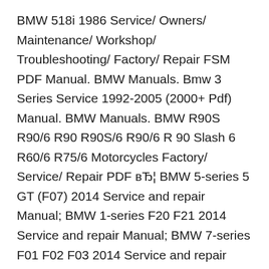BMW 518i 1986 Service/ Owners/ Maintenance/ Workshop/ Troubleshooting/ Factory/ Repair FSM PDF Manual. BMW Manuals. Bmw 3 Series Service 1992-2005 (2000+ Pdf) Manual. BMW Manuals. BMW R90S R90/6 R90 R90S/6 R90/6 R 90 Slash 6 R60/6 R75/6 Motorcycles Factory/ Service/ Repair PDF вЂ¦ BMW 5-series 5 GT (F07) 2014 Service and repair Manual; BMW 1-series F20 F21 2014 Service and repair Manual; BMW 7-series F01 F02 F03 2014 Service and repair Manual; BMW 6-series F12 F13 F06 2014 Service and repair Manual; BMW 3-series F30 F31 F34 F35 2014 Service and repair Manual; BMW 4-series F32 F33 F36 2014 Service and repair Manual; BMW 2